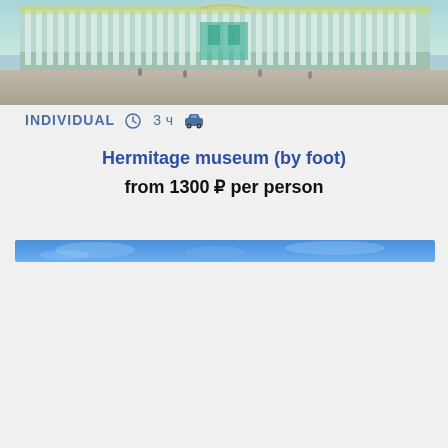[Figure (photo): Photo of the Hermitage Museum (Winter Palace) in Saint Petersburg, Russia, showing the light green baroque facade with white columns, ornate decorations, and a large open square in front with people walking.]
INDIVIDUAL  ⏱ 3 ч  🚗
Hermitage museum (by foot)
from 1300 ₽ per person
[Figure (photo): Partial photo showing a blue sky with clouds, appearing as a narrow horizontal strip.]